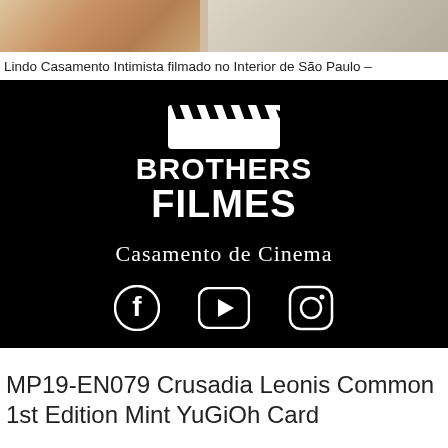[Figure (photo): Top portion of a wedding photo showing floral decorations on left side and a person in light clothing on right side]
Lindo Casamento Intimista filmado no Interior de São Paulo –
[Figure (logo): Brothers Filmes logo on black background with clapperboard icon, text BROTHERS FILMES and cursive tagline Casamento de Cinema, with Facebook, YouTube, and Instagram social media icons below]
MP19-EN079 Crusadia Leonis Common 1st Edition Mint YuGiOh Card